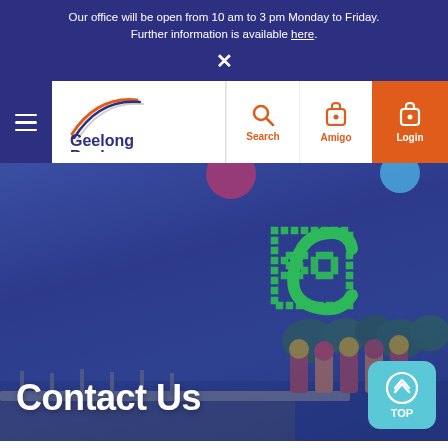Our office will be open from 10 am to 3 pm Monday to Friday. Further information is available here.
[Figure (screenshot): Geelong Bank website navigation bar with hamburger menu, Geelong Bank logo, Search, Amigo, and Login buttons]
[Figure (photo): Hero image showing Geelong waterfront with decorative bollards and blue overlay, with Contact Us title overlay]
Contact Us